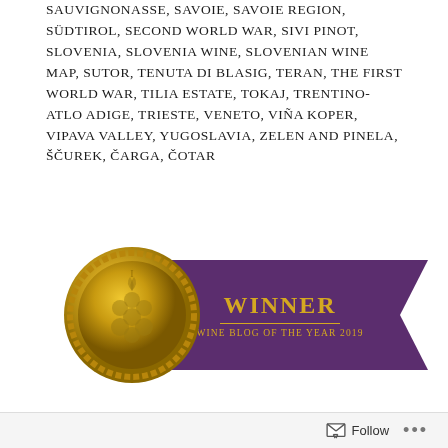SAUVIGNONASSE, SAVOIE, SAVOIE REGION, SÜDTIROL, SECOND WORLD WAR, SIVI PINOT, SLOVENIA, SLOVENIA WINE, SLOVENIAN WINE MAP, SUTOR, TENUTA DI BLASIG, TERAN, THE FIRST WORLD WAR, TILIA ESTATE, TOKAJ, TRENTINO-ATLO ADIGE, TRIESTE, VENETO, VIÑA KOPER, VIPAVA VALLEY, YUGOSLAVIA, ZELEN AND PINELA, ŠČUREK, ČARGA, ČOTAR
[Figure (illustration): Gold medal award badge with grape cluster emblem and purple ribbon banner reading WINNER / WINE BLOG OF THE YEAR 2019]
Follow